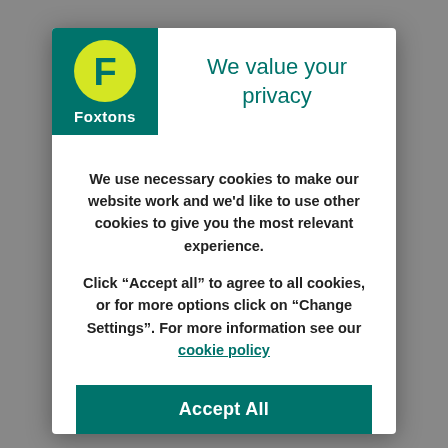[Figure (logo): Foxtons logo: green background box with yellow circle containing white F letter and Foxtons text below]
We value your privacy
We use necessary cookies to make our website work and we'd like to use other cookies to give you the most relevant experience.
Click “Accept all” to agree to all cookies, or for more options click on “Change Settings”. For more information see our cookie policy
Accept All